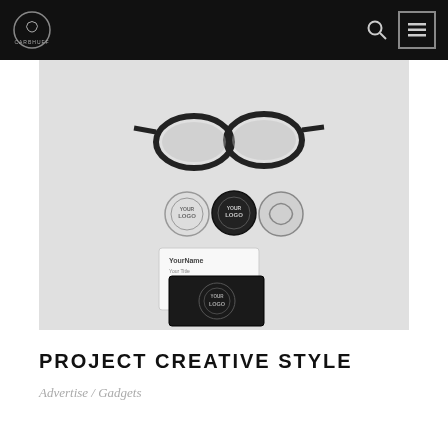CARBHUFF (logo) / search / menu
[Figure (photo): Flat-lay product branding mockup on light grey background showing: black-framed eyeglasses at top, three circular badge/button logo mockups in the middle row, a white business card and a black business card at the bottom]
PROJECT CREATIVE STYLE
Advertise / Gadgets